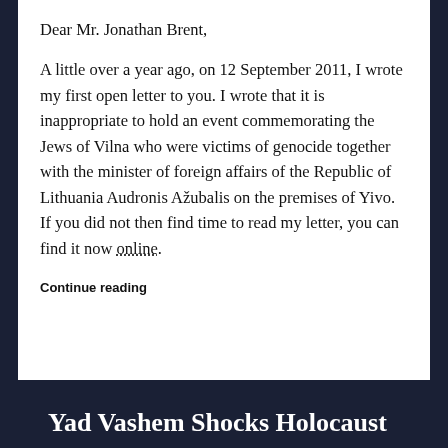Dear Mr. Jonathan Brent,
A little over a year ago, on 12 September 2011, I wrote my first open letter to you. I wrote that it is inappropriate to hold an event commemorating the Jews of Vilna who were victims of genocide together with the minister of foreign affairs of the Republic of Lithuania Audronis Ažubalis on the premises of Yivo. If you did not then find time to read my letter, you can find it now online.
Continue reading
Yad Vashem Shocks Holocaust